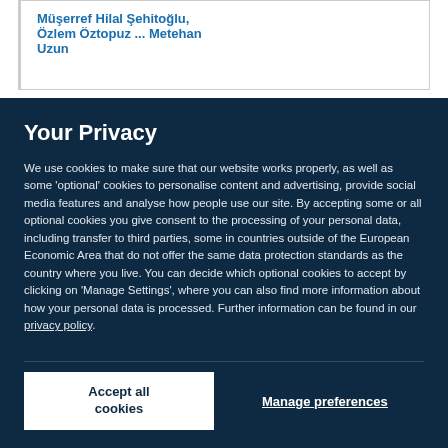Müşerref Hilal Şehitoğlu, Özlem Öztopuz ... Metehan Uzun
Your Privacy
We use cookies to make sure that our website works properly, as well as some 'optional' cookies to personalise content and advertising, provide social media features and analyse how people use our site. By accepting some or all optional cookies you give consent to the processing of your personal data, including transfer to third parties, some in countries outside of the European Economic Area that do not offer the same data protection standards as the country where you live. You can decide which optional cookies to accept by clicking on 'Manage Settings', where you can also find more information about how your personal data is processed. Further information can be found in our privacy policy.
Accept all cookies
Manage preferences